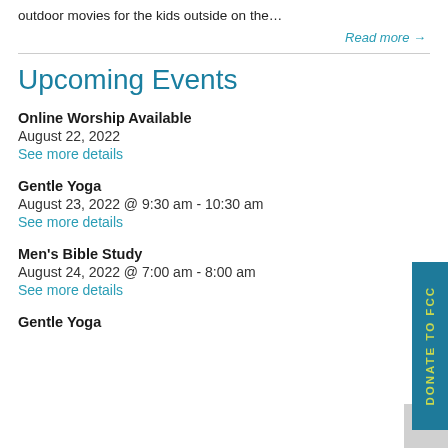outdoor movies for the kids outside on the…
Read more →
Upcoming Events
Online Worship Available
August 22, 2022
See more details
Gentle Yoga
August 23, 2022 @ 9:30 am - 10:30 am
See more details
Men's Bible Study
August 24, 2022 @ 7:00 am - 8:00 am
See more details
Gentle Yoga